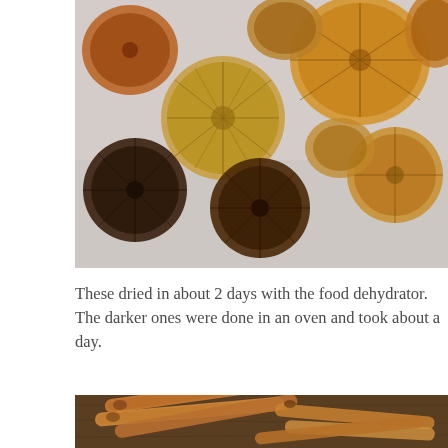[Figure (photo): A pile of dried citrus slices (oranges and lemons) spread on a light surface. The slices range from light golden-yellow to dark brown in color, showing varying degrees of dehydration.]
These dried in about 2 days with the food dehydrator. The darker ones were done in an oven and took about a day.
[Figure (photo): Cinnamon sticks arranged on a wooden surface, viewed from the top.]